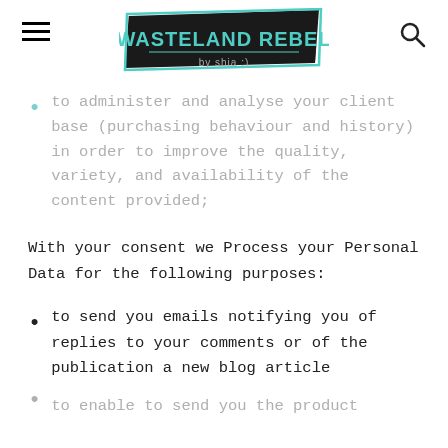Wasteland Rebel by shia :)
to administer and analyse our client base (purchasing behaviour and history) in order to improve the quality, variety, and availability of the content provided;
With your consent we Process your Personal Data for the following purposes:
to send you emails notifying you of replies to your comments or of the publication a new blog article
to enable to send you the product